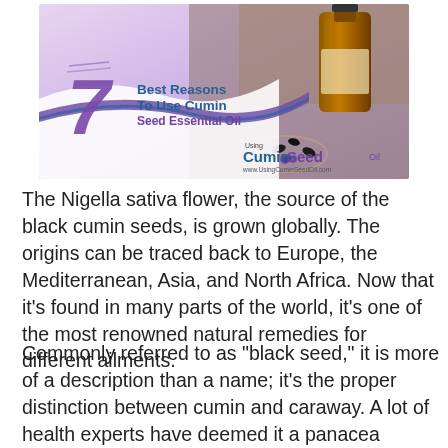[Figure (photo): Infographic banner showing a brown essential oil bottle with black cumin seeds, purple gradient background, large stylized '7' in purple, text reading '7 Best Reasons To Use Cumin Seed Essential Oil', and 'Using Cumin Seed Oil' branding with website www.UsingCuminSeedOil.com]
The Nigella sativa flower, the source of the black cumin seeds, is grown globally. The origins can be traced back to Europe, the Mediterranean, Asia, and North Africa. Now that it's found in many parts of the world, it's one of the most renowned natural remedies for different ailments.
Commonly referred to as "black seed," it is more of a description than a name; it's the proper distinction between cumin and caraway. A lot of health experts have deemed it a panacea because it can be used to provide relief from